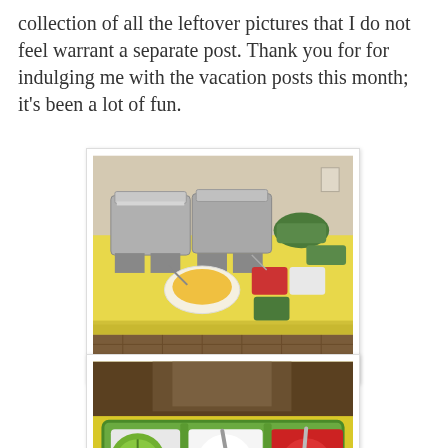collection of all the leftover pictures that I do not feel warrant a separate post. Thank you for for indulging me with the vacation posts this month; it's been a lot of fun.
[Figure (photo): A buffet-style food table covered with a yellow tablecloth, featuring chafing dishes with stainless steel lids, and various condiment bowls including shredded cheese, sour cream, salsa, and chopped greens.]
[Figure (photo): Close-up of a green divided tray containing lime wedges, sour cream, and red salsa, set on a yellow surface with a dark wooden chair visible in the background.]